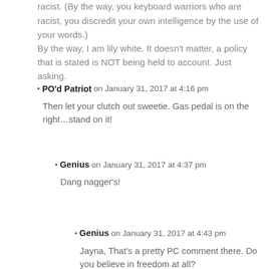racist. (By the way, you keyboard warriors who are racist, you discredit your own intelligence by the use of your words.)
By the way, I am lily white. It doesn’t matter, a policy that is stated is NOT being held to account. Just asking.
PO’d Patriot on January 31, 2017 at 4:16 pm
Then let your clutch out sweetie. Gas pedal is on the right…stand on it!
Genius on January 31, 2017 at 4:37 pm
Dang nagger’s!
Genius on January 31, 2017 at 4:43 pm
Jayna, That’s a pretty PC comment there. Do you believe in freedom at all?